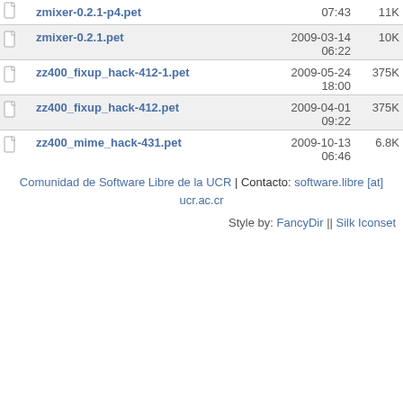|  | Name | Date | Size |
| --- | --- | --- | --- |
|  | zmixer-0.2.1-p4.pet | 07:43 | 11K |
|  | zmixer-0.2.1.pet | 2009-03-14 06:22 | 10K |
|  | zz400_fixup_hack-412-1.pet | 2009-05-24 18:00 | 375K |
|  | zz400_fixup_hack-412.pet | 2009-04-01 09:22 | 375K |
|  | zz400_mime_hack-431.pet | 2009-10-13 06:46 | 6.8K |
Comunidad de Software Libre de la UCR | Contacto: software.libre [at] ucr.ac.cr
Style by: FancyDir || Silk Iconset